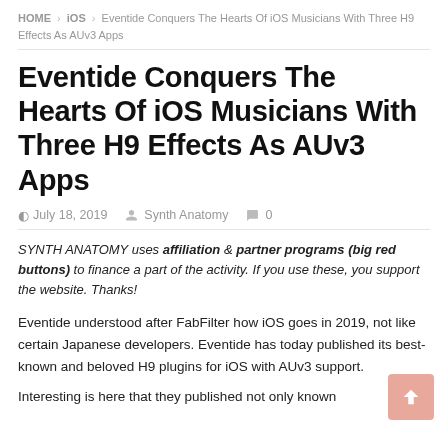HOME > iOS > Eventide Conquers The Hearts Of iOS Musicians With Three H9 Effects As AUv3 Apps
Eventide Conquers The Hearts Of iOS Musicians With Three H9 Effects As AUv3 Apps
July 18, 2019   Synth Anatomy   0
SYNTH ANATOMY uses affiliation & partner programs (big red buttons) to finance a part of the activity. If you use these, you support the website. Thanks!
Eventide understood after FabFilter how iOS goes in 2019, not like certain Japanese developers. Eventide has today published its best-known and beloved H9 plugins for iOS with AUv3 support.
Interesting is here that they published not only known